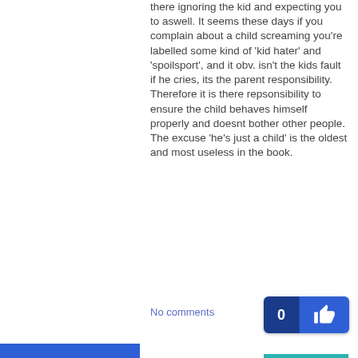there ignoring the kid and expecting you to aswell. It seems these days if you complain about a child screaming you're labelled some kind of 'kid hater' and 'spoilsport', and it obv. isn't the kids fault if he cries, its the parent responsibility. Therefore it is there repsonsibility to ensure the child behaves himself properly and doesnt bother other people. The excuse 'he's just a child' is the oldest and most useless in the book.
No comments